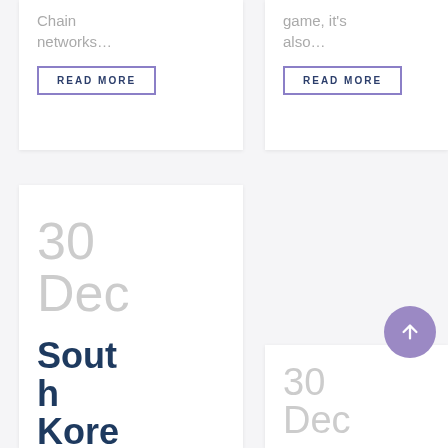Chain networks...
game, it's also...
READ MORE
READ MORE
30
Dec
South Kore
30
Dec